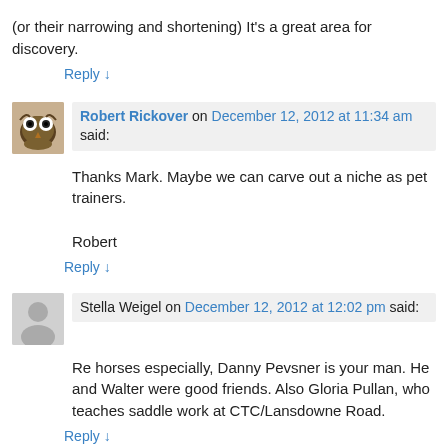(or their narrowing and shortening) It's a great area for discovery.
Reply ↓
Robert Rickover on December 12, 2012 at 11:34 am said:
Thanks Mark. Maybe we can carve out a niche as pet trainers.

Robert
Reply ↓
Stella Weigel on December 12, 2012 at 12:02 pm said:
Re horses especially, Danny Pevsner is your man. He and Walter were good friends. Also Gloria Pullan, who teaches saddle work at CTC/Lansdowne Road.
Reply ↓
Robert Rickover on December 12, 2012 at 12:41 pm said: